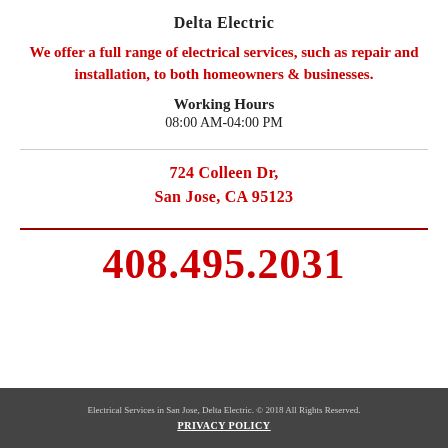Delta Electric
We offer a full range of electrical services, such as repair and installation, to both homeowners & businesses.
Working Hours
08:00 AM-04:00 PM
724 Colleen Dr,
San Jose, CA 95123
408.495.2031
Electrical Services in San Jose, Delta Electric. © 2018 All Rights Reserved.  PRIVACY POLICY